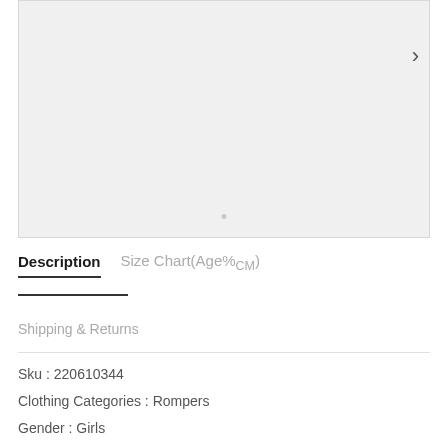[Figure (photo): Product image placeholder area with light gray background and right navigation arrow]
Description   Size Chart(Age%CM)
Shipping & Returns
Sku : 220610344
Clothing Categories : Rompers
Gender : Girls